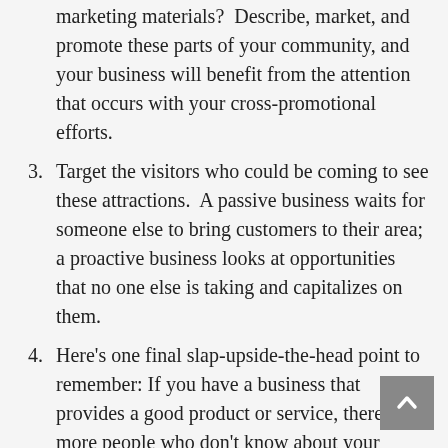marketing materials?  Describe, market, and promote these parts of your community, and your business will benefit from the attention that occurs with your cross-promotional efforts.
3. Target the visitors who could be coming to see these attractions.  A passive business waits for someone else to bring customers to their area; a proactive business looks at opportunities that no one else is taking and capitalizes on them.
4. Here's one final slap-upside-the-head point to remember: If you have a business that provides a good product or service, there are more people who don't know about your business than those who do.  Are there aspects of your business that